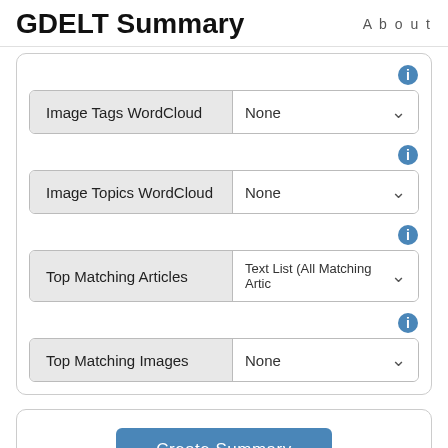GDELT Summary   About
[Figure (screenshot): UI form with four dropdown rows: Image Tags WordCloud (None), Image Topics WordCloud (None), Top Matching Articles (Text List All Matching Artic...), Top Matching Images (None), each preceded by an info icon. Below is a Create Summary button in a rounded box.]